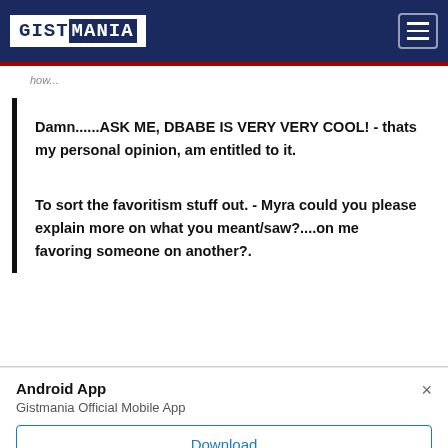GISTMANIA
Damn......ASK ME, DBABE IS VERY VERY COOL! - thats my personal opinion, am entitled to it.
To sort the favoritism stuff out.  - Myra could you please explain more on what you meant/saw?....on me favoring someone on another?.
Android App
Gistmania Official Mobile App
Download